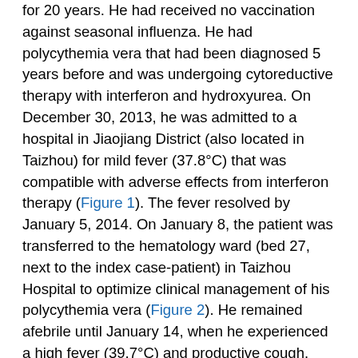for 20 years. He had received no vaccination against seasonal influenza. He had polycythemia vera that had been diagnosed 5 years before and was undergoing cytoreductive therapy with interferon and hydroxyurea. On December 30, 2013, he was admitted to a hospital in Jiaojiang District (also located in Taizhou) for mild fever (37.8°C) that was compatible with adverse effects from interferon therapy (Figure 1). The fever resolved by January 5, 2014. On January 8, the patient was transferred to the hematology ward (bed 27, next to the index case-patient) in Taizhou Hospital to optimize clinical management of his polycythemia vera (Figure 2). He remained afebrile until January 14, when he experienced a high fever (39.7°C) and productive cough. One day later, the patient received inhalation and parenteral methylprednisolone therapy for asthma. On January 19, shortness of breath developed, and he was moved to the hospital ICU, where tracheal intubation and mechanical ventilation were initiated (Technical Appendix Figure 6). The next day, oseltamivir treatment (75 mg 2×/d) was initiated, and throat swab samples collected for virology testing were positive for influenza H7N9 and H1N1 viruses. The patient was transferred to